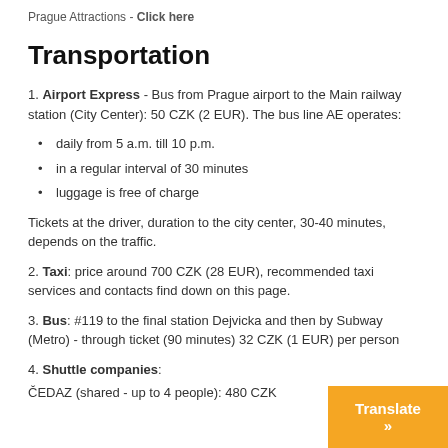Prague Attractions - Click here
Transportation
1. Airport Express - Bus from Prague airport to the Main railway station (City Center): 50 CZK (2 EUR). The bus line AE operates:
daily from 5 a.m. till 10 p.m.
in a regular interval of 30 minutes
luggage is free of charge
Tickets at the driver, duration to the city center, 30-40 minutes, depends on the traffic.
2. Taxi: price around 700 CZK (28 EUR), recommended taxi services and contacts find down on this page.
3. Bus: #119 to the final station Dejvicka and then by Subway (Metro) - through ticket (90 minutes) 32 CZK (1 EUR) per person
4. Shuttle companies:
ČEDAZ (shared - up to 4 people): 480 CZK